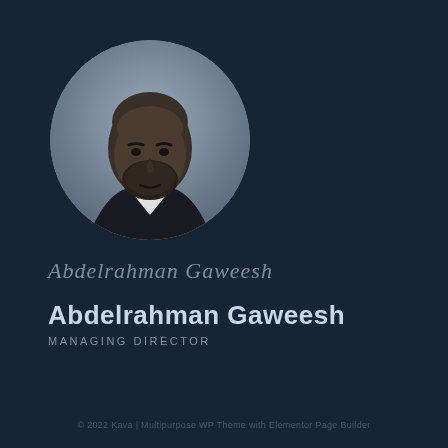[Figure (photo): Circular portrait photo of Abdelrahman Gaweesh, a man with a beard wearing a dark suit, shown in grayscale/monochrome style against a dark navy background]
Abdelrahman Gaweesh (signature/handwriting style)
Abdelrahman Gaweesh
MANAGING DIRECTOR
© 2022 Kava | Multipurpose WP Theme with Elementor Page Builder